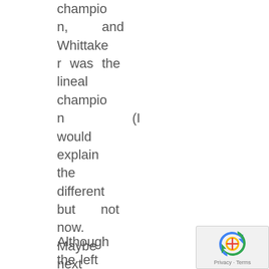champion, and Whittaker was the lineal champion (I would explain the different but not now. Maybe next time).
Although the left hand that
[Figure (logo): reCAPTCHA badge with Privacy and Terms text]